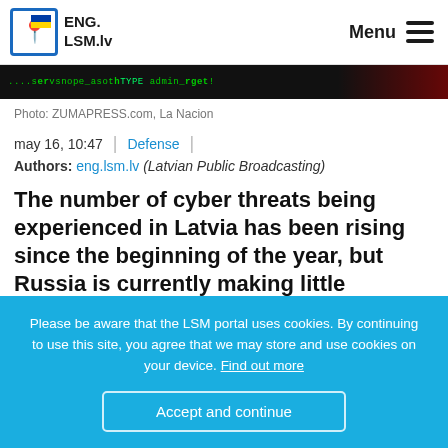ENG.LSM.lv | Menu
[Figure (screenshot): Dark hacker/terminal screenshot banner with green terminal text and red glow on right]
Photo: ZUMAPRESS.com, La Nacion
may 16, 10:47 | Defense
Authors: eng.lsm.lv (Latvian Public Broadcasting)
The number of cyber threats being experienced in Latvia has been rising since the beginning of the year, but Russia is currently making little progress in its regular cyber attacks on Latvia's online resources, according to Varis Teivāns, a spokesman for
Please be aware that the LSM portal uses cookies. By continuing to use this site, you agree that we may store and use cookies on your device. Find out more
Accept and continue